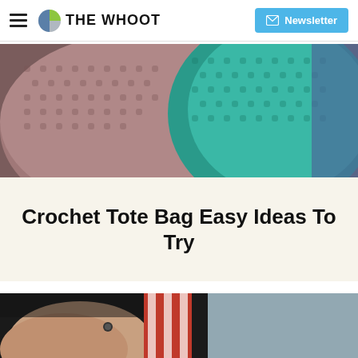THE WHOOT | Newsletter
[Figure (photo): Close-up photo of crocheted tote bags, one mauve/dusty pink and one teal/turquoise, held by a person wearing jeans]
Crochet Tote Bag Easy Ideas To Try
[Figure (photo): Close-up photo of a person's shoulder with a red and white striped crochet tote bag strap, dark background]